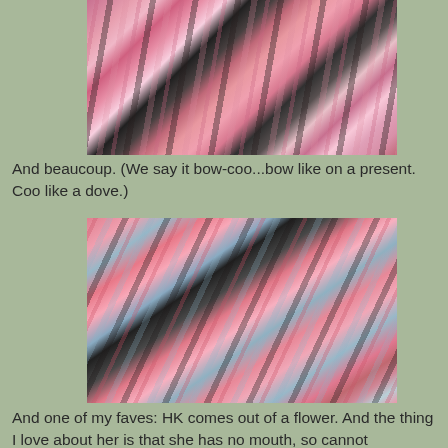[Figure (photo): Collection of decorative pens and stationery items with pink, floral, and Hello Kitty designs laid out on a desk surface]
And beaucoup. (We say it bow-coo...bow like on a present. Coo like a dove.)
[Figure (photo): Collection of colorful Hello Kitty and kawaii-themed pens and markers laid out in a fan arrangement on a desk]
And one of my faves: HK comes out of a flower. And the thing I love about her is that she has no mouth, so cannot